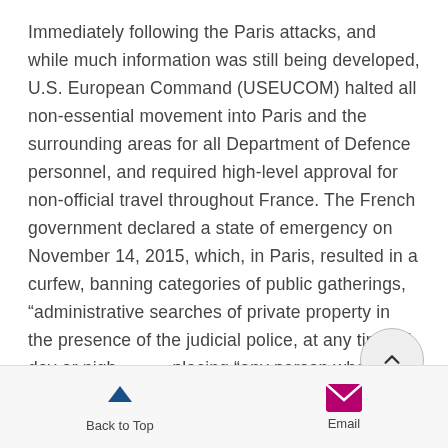Immediately following the Paris attacks, and while much information was still being developed, U.S. European Command (USEUCOM) halted all non-essential movement into Paris and the surrounding areas for all Department of Defence personnel, and required high-level approval for non-official travel throughout France. The French government declared a state of emergency on November 14, 2015, which, in Paris, resulted in a curfew, banning categories of public gatherings, “administrative searches of private property in the presence of the judicial police, at any time of day or night,” and placing “any person whose activities are deemed to be a threat to security” under
[Figure (other): Scroll-to-top circular button with an upward-pointing chevron arrow]
Back to Top   Email